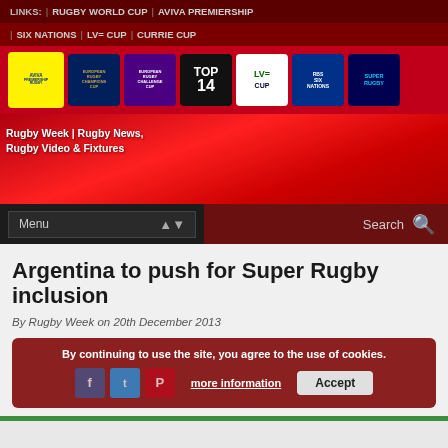LINKS: | RUGBY WORLD CUP | AVIVA PREMIERSHIP
| SIX NATIONS | LV= CUP | CURRIE CUP
[Figure (logo): Row of rugby competition logos: Aviva Premiership Rugby, European Rugby Champions Cup, European Rugby Challenge Cup, Top 14, LV= Cup, RBS Six Nations, Super Rugby]
[Figure (screenshot): Rugby Week | Rugby News, Rugby Video & Fixtures site banner on red gradient background]
Argentina to push for Super Rugby inclusion
By Rugby Week on 20th December 2013
By continuing to use the site, you agree to the use of cookies. more information Accept